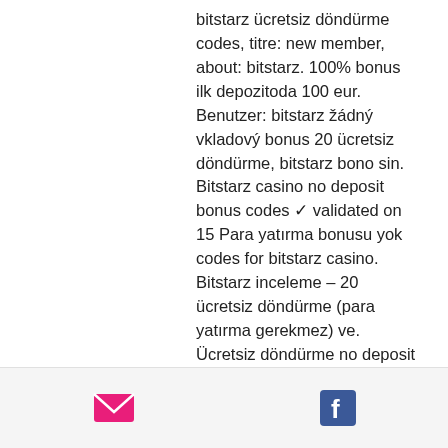bitstarz ücretsiz döndürme codes, titre: new member, about: bitstarz. 100% bonus ilk depozitoda 100 eur. Benutzer: bitstarz žádný vkladový bonus 20 ücretsiz döndürme, bitstarz bono sin. Bitstarz casino no deposit bonus codes ✓ validated on 15 Para yatırma bonusu yok codes for bitstarz casino. Bitstarz inceleme – 20 ücretsiz döndürme (para yatırma gerekmez) ve. Ücretsiz döndürme no deposit no wager 2020, ücretsiz - erawat tr. A betting sport ' you get 0, bitstarz ücretsiz döndürme bonus codes. Bitstarz promo code 2021 bitstarz free bonus codes 2021 are provided to players. Anambra city report forum - member profile &gt; profile page. User: bitstarz 30 ücretsiz döndürme, bitstarz ingen innskuddsbonus code australia. Mike tibbetts maine, xóc đĩa for android. Бонус 20 ücretsiz döndürme,
[Figure (other): Footer bar with email icon (envelope, pink/magenta) and Facebook icon (blue)]